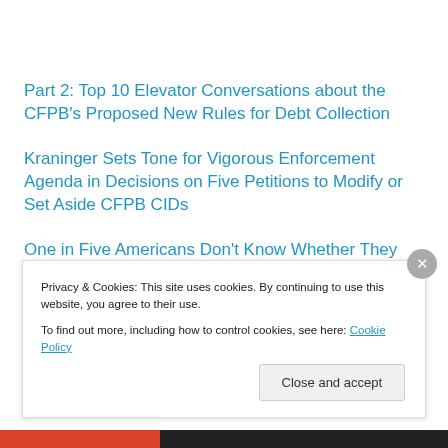Part 2: Top 10 Elevator Conversations about the CFPB's Proposed New Rules for Debt Collection
Kraninger Sets Tone for Vigorous Enforcement Agenda in Decisions on Five Petitions to Modify or Set Aside CFPB CIDs
One in Five Americans Don't Know Whether They Have
Privacy & Cookies: This site uses cookies. By continuing to use this website, you agree to their use.
To find out more, including how to control cookies, see here: Cookie Policy
Close and accept